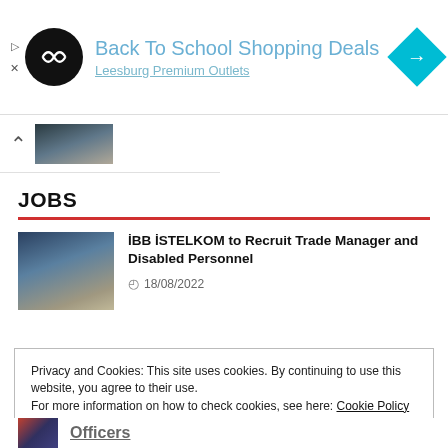[Figure (screenshot): Advertisement banner for Back To School Shopping Deals at Leesburg Premium Outlets, with a circular black logo on left and blue diamond arrow icon on right]
[Figure (screenshot): Scroll area with chevron up icon and a dark thumbnail image]
JOBS
[Figure (photo): Blurred photo of person at desk writing or working on documents]
İBB İSTELKOM to Recruit Trade Manager and Disabled Personnel
18/08/2022
Privacy and Cookies: This site uses cookies. By continuing to use this website, you agree to their use.
For more information on how to check cookies, see here: Cookie Policy
OK
Officers